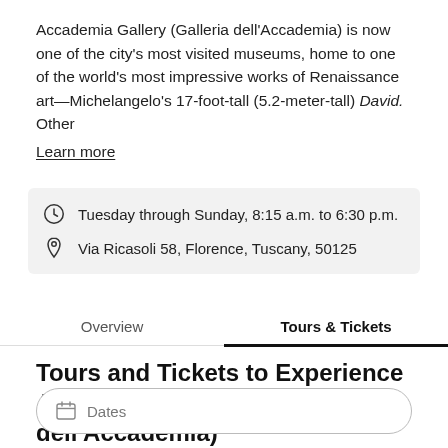Accademia Gallery (Galleria dell'Accademia) is now one of the city's most visited museums, home to one of the world's most impressive works of Renaissance art—Michelangelo's 17-foot-tall (5.2-meter-tall) David. Other Learn more
Tuesday through Sunday, 8:15 a.m. to 6:30 p.m.
Via Ricasoli 58, Florence, Tuscany, 50125
Overview | Tours & Tickets
Tours and Tickets to Experience Accademia Gallery (Galleria dell'Accademia)
Dates